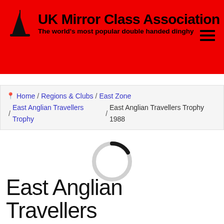UK Mirror Class Association — The world's most popular double handed dinghy
Home / Regions & Clubs / East Zone / East Anglian Travellers Trophy / East Anglian Travellers Trophy 1988
[Figure (other): Loading spinner — a circular ring mostly light grey with a small dark black arc at the top-right, indicating a page loading state.]
East Anglian Travellers